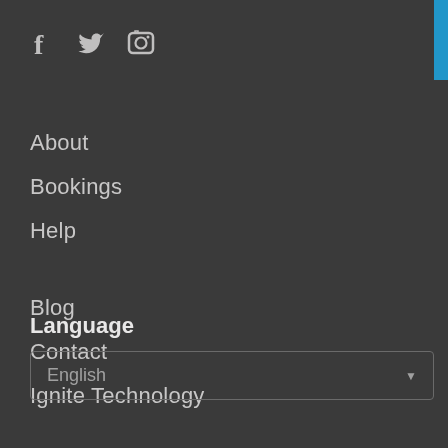[Figure (other): Social media icons: Facebook (f), Twitter (bird), Instagram (camera)]
About
Bookings
Help
Blog
Contact
Ignite Technology
Language
English